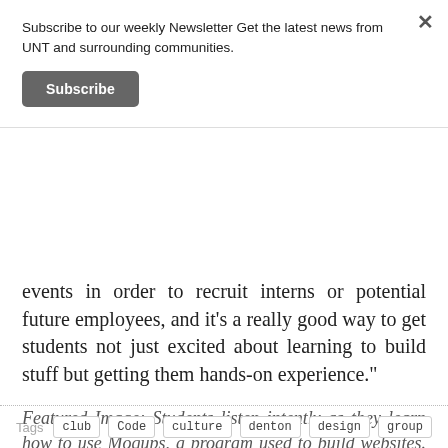Subscribe to our weekly Newsletter Get the latest news from UNT and surrounding communities.
Subscribe
events in order to recruit interns or potential future employees, and it's a really good way to get students not just excited about learning to build stuff but getting them hands-on experience."
Featured Image: Students listen intently as they learn how to use Moqups, a program used to build websites. Tristan Miller | Staff Photographer
Tags  club  Code  culture  denton  design  group